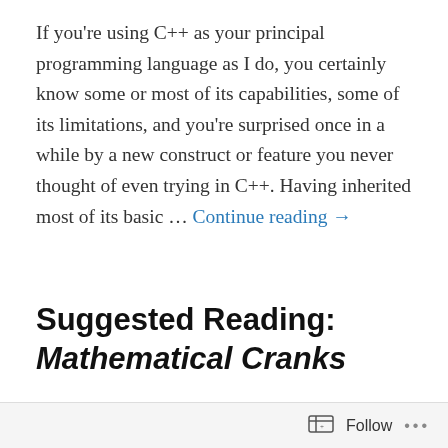If you're using C++ as your principal programming language as I do, you certainly know some or most of its capabilities, some of its limitations, and you're surprised once in a while by a new construct or feature you never thought of even trying in C++. Having inherited most of its basic … Continue reading →
30/11/2010
3 Replies
Suggested Reading: Mathematical Cranks
Underwook Dudley — Mathematical Cranks — The American Mathematical Association, 1992, 372 pp. ISBN